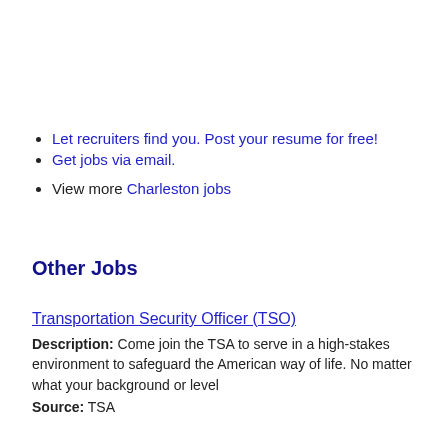Let recruiters find you. Post your resume for free!
Get jobs via email.
View more Charleston jobs
Other Jobs
Transportation Security Officer (TSO)
Description: Come join the TSA to serve in a high-stakes environment to safeguard the American way of life. No matter what your background or level
Source: TSA